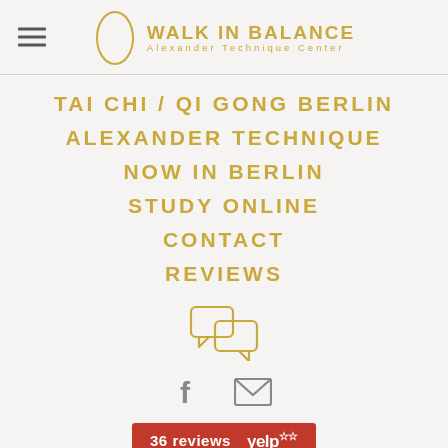WALK IN BALANCE Alexander Technique Center
TAI CHI / QI GONG BERLIN
ALEXANDER TECHNIQUE
NOW IN BERLIN
STUDY ONLINE
CONTACT
REVIEWS
[Figure (illustration): Chat/speech bubbles icon in gold outline]
[Figure (illustration): Social icons: Facebook F and envelope/email icons in gray]
[Figure (illustration): Yelp badge showing '36 reviews' with Yelp logo on red background]